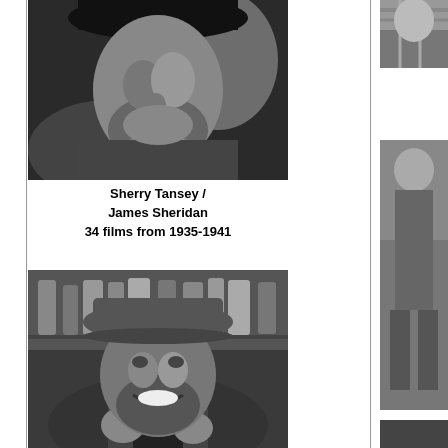[Figure (photo): Black and white photo of a bearded man wearing a dark hat and bandana/scarf, looking upward, from shoulders up]
Sherry Tansey / James Sheridan
34 films from 1935-1941
[Figure (photo): Black and white photo of a smiling bearded man wearing a cowboy hat, in a bar or saloon setting with bottles visible in background]
[Figure (photo): Partial black and white photo visible on right edge, appears to show a person in checkered/plaid clothing]
[Figure (photo): Partial black and white photo on right edge, appears to show a person standing]
[Figure (photo): Partial dark gray/black rectangular area at bottom right]